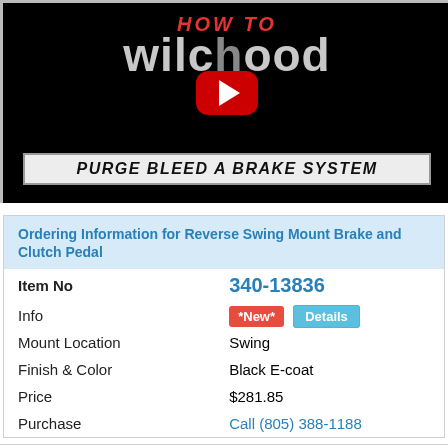[Figure (screenshot): YouTube video thumbnail for 'How to Wilwood: Purge Bleed a Brake System' showing white Wilwood logo on black background with red YouTube play button and text banner 'PURGE BLEED A BRAKE SYSTEM']
| Item No | 340-13836 |
| Info | *New* Details |
| Mount Location | Swing |
| Finish & Color | Black E-coat |
| Price | $281.85 |
| Purchase | Call (805) 388-1188 |
Swing Mount Brake Pedal
Mount Location: Swing